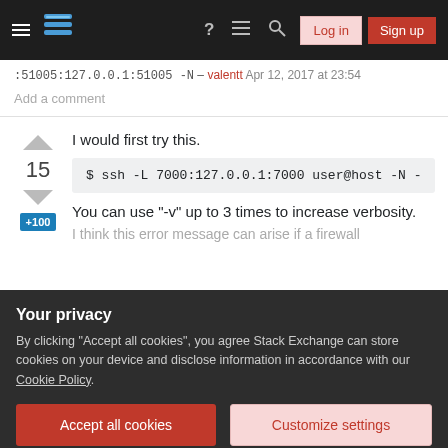Stack Exchange navigation bar with Log in and Sign up buttons
:51005:127.0.0.1:51005 -N – valentt Apr 12, 2017 at 23:54
Add a comment
I would first try this.
$ ssh -L 7000:127.0.0.1:7000 user@host -N -
You can use "-v" up to 3 times to increase verbosity.
I think this error message can arise if a firewall
Your privacy
By clicking "Accept all cookies", you agree Stack Exchange can store cookies on your device and disclose information in accordance with our Cookie Policy.
Accept all cookies
Customize settings
addresses following an update. I could be wrong